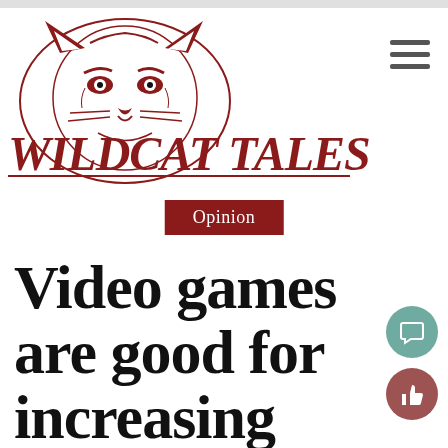[Figure (logo): Wildcat Tales newspaper logo with a wildcat mascot head and stylized text 'WILDCAT TALES' in dark red]
Opinion
Video games are good for increasing memory, skills